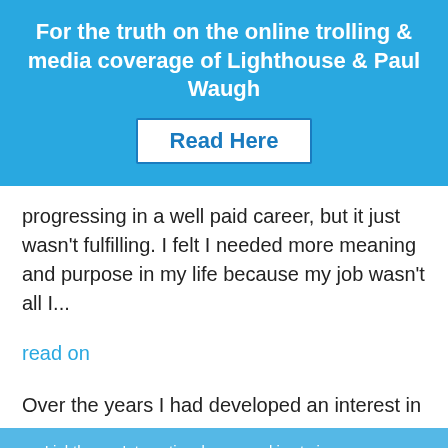For the truth on the online trolling & media coverage of Lighthouse & Paul Waugh
Read Here
progressing in a well paid career, but it just wasn't fulfilling. I felt I needed more meaning and purpose in my life because my job wasn't all I...
read on
Over the years I had developed an interest in
Lighthouse International uses cookies to improve your experience. We'll assume you're ok with this, but you can opt-out if you wish. Cookie Settings Read More Accept All Reject All